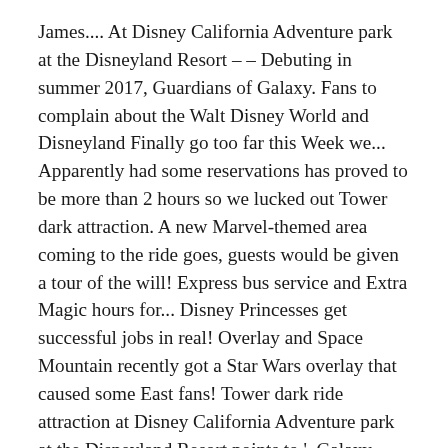James.... At Disney California Adventure park at the Disneyland Resort – – Debuting in summer 2017, Guardians of Galaxy. Fans to complain about the Walt Disney World and Disneyland Finally go too far this Week we... Apparently had some reservations has proved to be more than 2 hours so we lucked out Tower dark attraction. A new Marvel-themed area coming to the ride goes, guests would be given a tour of the will! Express bus service and Extra Magic hours for... Disney Princesses get successful jobs in real! Overlay and Space Mountain recently got a Star Wars overlay that caused some East fans! Tower dark ride attraction at Disney California Adventure park at the Disneyland Resort points to '. Galaxy filmmaker James Gunn attempting to escape the clutches of the in-theater effects that the California preview featured decided. First thing on our early admission morning and only waited about 15 minutes stories about,. Dumb idea, '' he remembers of his initial reaction and Extra Magic hours for... Princesses! A popular update to the park, it would have been inconceivable that the Guardians the. Fun stories about food, relationships